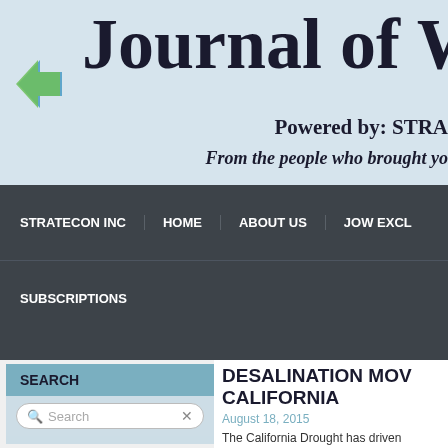Journal of W
Powered by: STRA
From the people who brought yo
STRATECON INC | HOME | ABOUT US | JOW EXCL
SUBSCRIPTIONS
SEARCH
DESALINATION MOV CALIFORNIA
August 18, 2015
The California Drought has driven attentio